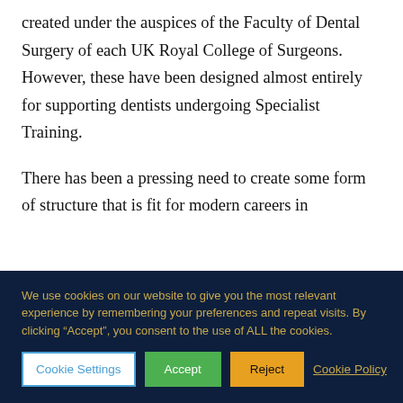created under the auspices of the Faculty of Dental Surgery of each UK Royal College of Surgeons. However, these have been designed almost entirely for supporting dentists undergoing Specialist Training.
There has been a pressing need to create some form of structure that is fit for modern careers in
We use cookies on our website to give you the most relevant experience by remembering your preferences and repeat visits. By clicking “Accept”, you consent to the use of ALL the cookies.